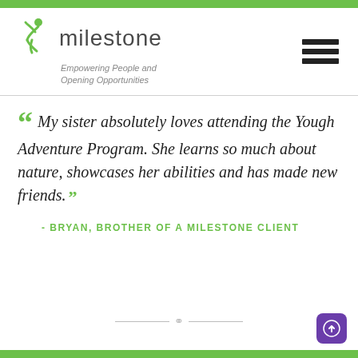[Figure (logo): Milestone logo with green running figure icon, 'milestone' text, and tagline 'Empowering People and Opening Opportunities']
My sister absolutely loves attending the Yough Adventure Program. She learns so much about nature, showcases her abilities and has made new friends.
- BRYAN, BROTHER OF A MILESTONE CLIENT